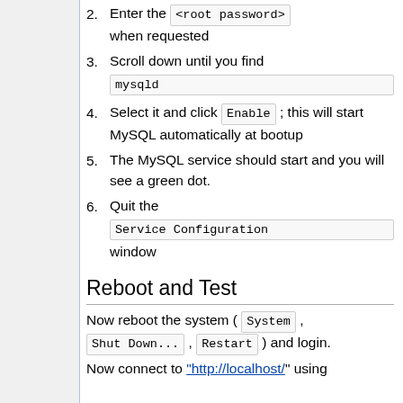2. Enter the <root password> when requested
3. Scroll down until you find mysqld
4. Select it and click Enable ; this will start MySQL automatically at bootup
5. The MySQL service should start and you will see a green dot.
6. Quit the Service Configuration window
Reboot and Test
Now reboot the system ( System , Shut Down... , Restart ) and login.
Now connect to "http://localhost/" using